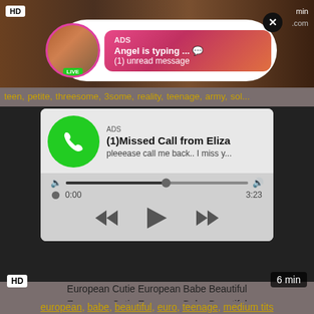[Figure (screenshot): Adult video website screenshot with ad overlays. Top strip shows a video thumbnail with HD badge. A notification-style ad popup shows 'ADS / Angel is typing ... 💬 / (1) unread message' with a circular avatar and LIVE badge. Below is a tags row with links: teen, petite, threesome, 3some, reality, teenage, army, sol... A dark video player area contains a phone-style missed call ad widget showing '(1)Missed Call from Eliza / pleeease call me back.. I miss y...' with audio player controls (volume, progress bar, time 0:00 / 3:23, rewind/play/fast-forward buttons). The video has HD and '6 min' badges. Below the video: 'European Cutie European Babe Beautiful' and tag links: european, babe, beautiful, euro, teenage, medium tits.]